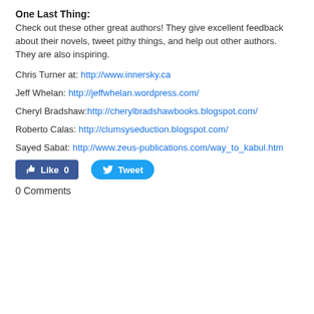One Last Thing:
Check out these other great authors! They give excellent feedback about their novels, tweet pithy things, and help out other authors. They are also inspiring.
Chris Turner at: http://www.innersky.ca
Jeff Whelan: http://jeffwhelan.wordpress.com/
Cheryl Bradshaw:http://cherylbradshawbooks.blogspot.com/
Roberto Calas: http://clumsyseduction.blogspot.com/
Sayed Sabat: http://www.zeus-publications.com/way_to_kabul.htm
[Figure (screenshot): Facebook Like button showing 0 likes and Twitter Tweet button]
0 Comments